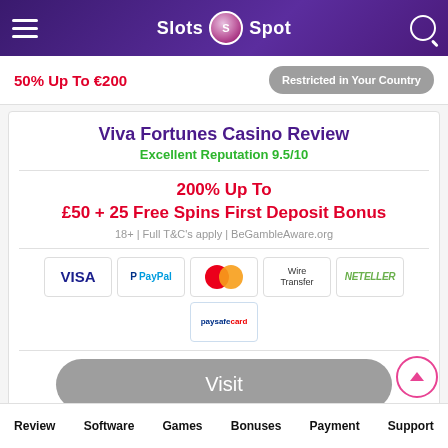Slots Spot
50% Up To €200
Restricted in Your Country
Viva Fortunes Casino Review
Excellent Reputation 9.5/10
200% Up To £50 + 25 Free Spins First Deposit Bonus
18+ | Full T&C's apply | BeGambleAware.org
[Figure (logo): Payment method logos: VISA, PayPal, Mastercard, Wire Transfer, NETELLER, paysafecard]
Visit
Review  Software  Games  Bonuses  Payment  Support